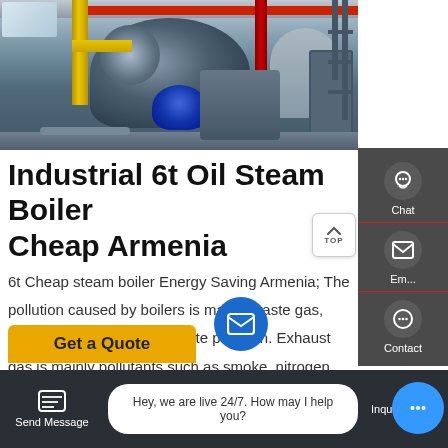[Figure (photo): Industrial boiler room with large cylindrical steam boiler, yellow pipe, red pipe, blue motor, overhead red beam, industrial equipment in a factory setting]
Industrial 6t Oil Steam Boiler Cheap Armenia
6t Cheap steam boiler Energy Saving Armenia; The pollution caused by boilers is mainly waste gas, waste water, noise, and waste pollution. Exhaust gas is mainly pollutants such as smoke, nitrogen oxides and sulfides produced by boiler combustion.
[Figure (screenshot): Sidebar with Chat, Email, TOP, and Contact icons on dark gray background]
Get a Quote
Hey, we are live 24/7. How may I help you?
Send Message
Inquiry Online